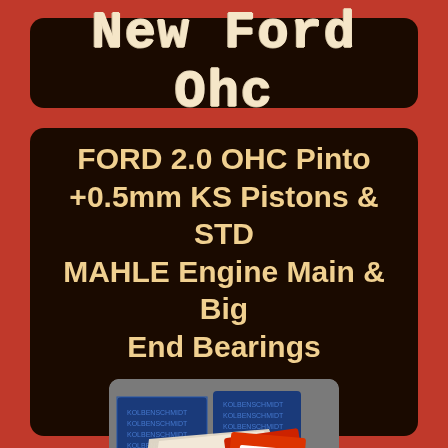New Ford Ohc
FORD 2.0 OHC Pinto +0.5mm KS Pistons & STD MAHLE Engine Main & Big End Bearings
[Figure (photo): Product photo showing KS Pistons packaging (blue KOLBENSCHMIDT boxes) and MAHLE Engine Bearings (red/orange packaging labeled Gleitlager) arranged on a grey foam/carpet background.]